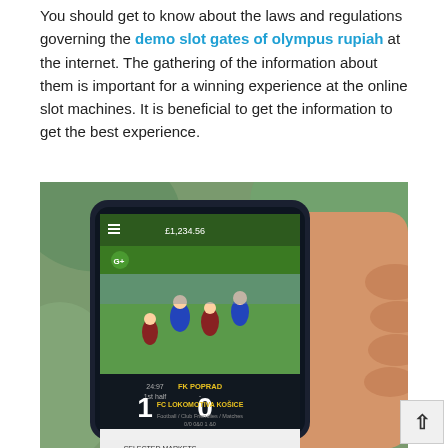You should get to know about the laws and regulations governing the demo slot gates of olympus rupiah at the internet. The gathering of the information about them is important for a winning experience at the online slot machines. It is beneficial to get the information to get the best experience.
[Figure (photo): A person holding a smartphone displaying a mobile sports betting app. The screen shows a football match between FK Poprad and FC Lokomotiva Košice with a score of 1-0 at 24:97 1st half, along with sections for Bet Offers, Activities, and Selected Markets. The score display shows £1,234.56 at the top.]